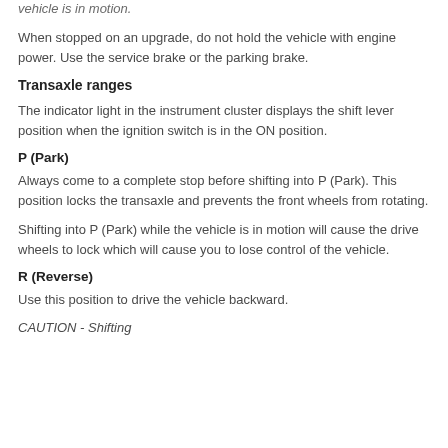vehicle is in motion.
When stopped on an upgrade, do not hold the vehicle with engine power. Use the service brake or the parking brake.
Transaxle ranges
The indicator light in the instrument cluster displays the shift lever position when the ignition switch is in the ON position.
P (Park)
Always come to a complete stop before shifting into P (Park). This position locks the transaxle and prevents the front wheels from rotating.
Shifting into P (Park) while the vehicle is in motion will cause the drive wheels to lock which will cause you to lose control of the vehicle.
R (Reverse)
Use this position to drive the vehicle backward.
CAUTION - Shifting